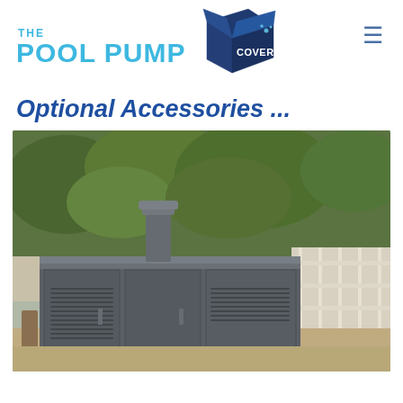[Figure (logo): The Pool Pump Cover logo with blue text and dark blue 3D box icon]
Optional Accessories ...
[Figure (photo): Outdoor pool pump enclosure — a large dark grey metal cabinet with ventilation grilles and a cylindrical chimney vent on top, set against a leafy garden wall background]